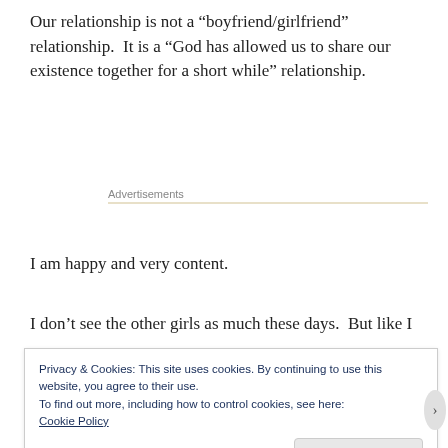Our relationship is not a “boyfriend/girlfriend” relationship.  It is a “God has allowed us to share our existence together for a short while” relationship.
Advertisements
I am happy and very content.
I don’t see the other girls as much these days.  But like I
Privacy & Cookies: This site uses cookies. By continuing to use this website, you agree to their use.
To find out more, including how to control cookies, see here:
Cookie Policy
Close and accept